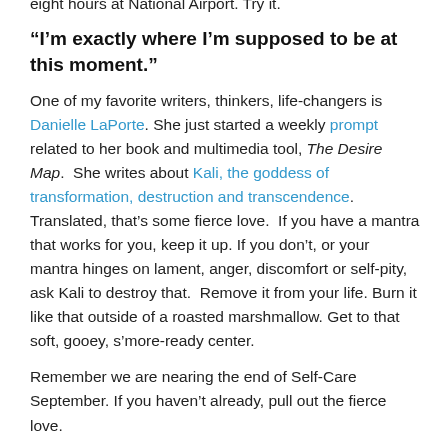eight hours at National Airport. Try it.
“I’m exactly where I’m supposed to be at this moment.”
One of my favorite writers, thinkers, life-changers is Danielle LaPorte. She just started a weekly prompt related to her book and multimedia tool, The Desire Map.  She writes about Kali, the goddess of transformation, destruction and transcendence. Translated, that’s some fierce love.  If you have a mantra that works for you, keep it up. If you don’t, or your mantra hinges on lament, anger, discomfort or self-pity, ask Kali to destroy that.  Remove it from your life. Burn it like that outside of a roasted marshmallow. Get to that soft, gooey, s’more-ready center.
Remember we are nearing the end of Self-Care September. If you haven’t already, pull out the fierce love.